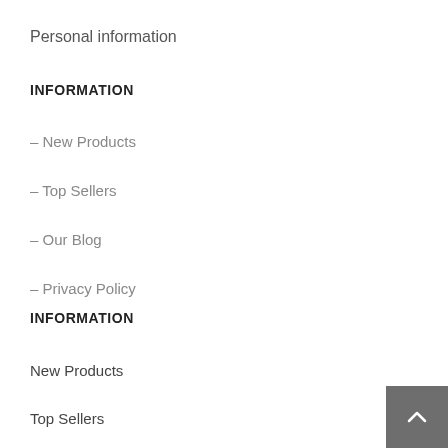Personal information
INFORMATION
– New Products
– Top Sellers
– Our Blog
– Privacy Policy
INFORMATION
New Products
Top Sellers